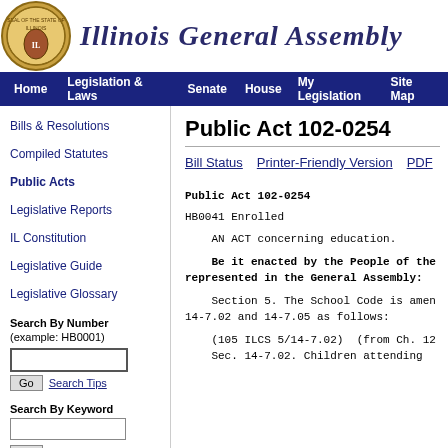Illinois General Assembly
Home | Legislation & Laws | Senate | House | My Legislation | Site Map
Bills & Resolutions
Compiled Statutes
Public Acts
Legislative Reports
IL Constitution
Legislative Guide
Legislative Glossary
Public Act 102-0254
Bill Status   Printer-Friendly Version   PDF
Public Act 102-0254

HB0041 Enrolled

    AN ACT concerning education.

    Be it enacted by the People of the represented in the General Assembly:

    Section 5. The School Code is amen 14-7.02 and 14-7.05 as follows:

    (105 ILCS 5/14-7.02)  (from Ch. 12
    Sec. 14-7.02. Children attending